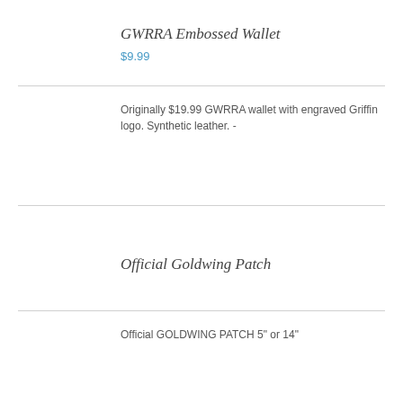GWRRA Embossed Wallet
$9.99
Originally $19.99 GWRRA wallet with engraved Griffin logo. Synthetic leather. -
Official Goldwing Patch
Official GOLDWING PATCH 5" or 14"